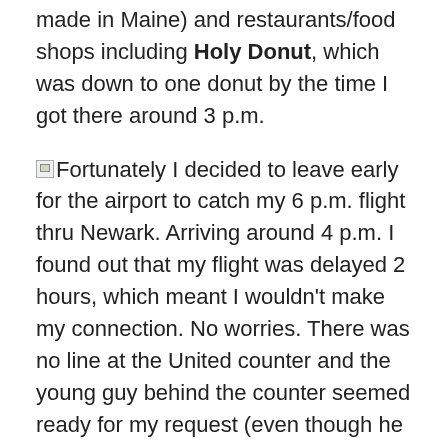made in Maine) and restaurants/food shops including Holy Donut, which was down to one donut by the time I got there around 3 p.m.
Fortunately I decided to leave early for the airport to catch my 6 p.m. flight thru Newark. Arriving around 4 p.m. I found out that my flight was delayed 2 hours, which meant I wouldn't make my connection. No worries. There was no line at the United counter and the young guy behind the counter seemed ready for my request (even though he was wearing a vest that suggested his regular job was steering planes on and off the tarmac). He rebooked me on a flight leaving at 4:50 p.m. to Chicago – with  2.5 hour layover. I'd get home about an hour earlier than my original 11:50 p.m.  When I got to Chicago at about 6:30, I saw there was a 7:30 flight to DSM as well as the 9:35 flight I was booked on. I walked over to the 7:30